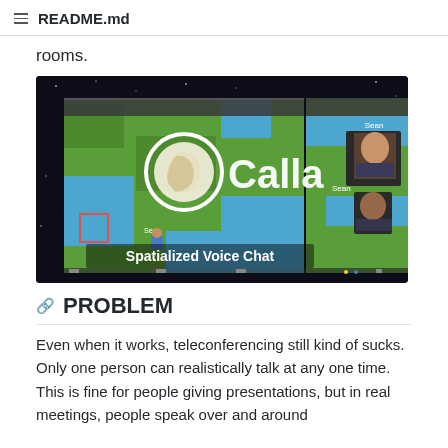README.md
rooms.
[Figure (screenshot): Screenshot of Calla - a spatialized voice chat application showing a top-down 2D game world with green tiles and blue areas, with user video thumbnails labeled 'Sean' visible in the top right corner, and the text 'Calla' and 'Spatialized Voice Chat' overlaid on the image.]
PROBLEM
Even when it works, teleconferencing still kind of sucks. Only one person can realistically talk at any one time. This is fine for people giving presentations, but in real meetings, people speak over and around